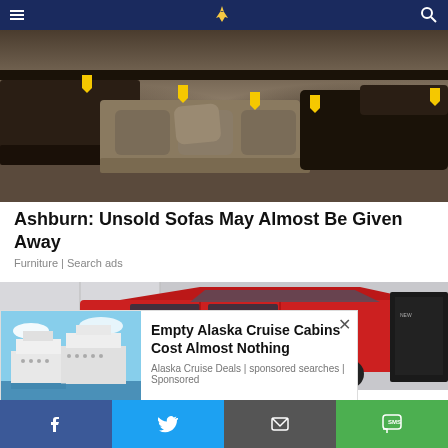Navigation header with hamburger menu, logo, and search icon
[Figure (photo): Furniture store showroom with rows of dark brown and tan sofas/couches with yellow price tags attached]
Ashburn: Unsold Sofas May Almost Be Given Away
Furniture | Search ads
[Figure (photo): Red SUV/car displayed in a showroom or dealership, partial view]
[Figure (photo): Popup advertisement showing cruise ships on water with text: Empty Alaska Cruise Cabins Cost Almost Nothing. Alaska Cruise Deals | sponsored searches | Sponsored]
Social share bar with Facebook, Twitter, Email, and SMS buttons